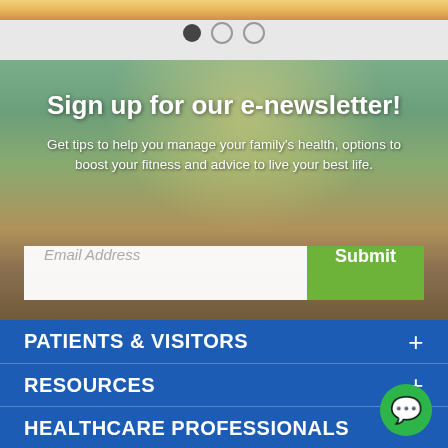[Figure (screenshot): Top strip with carousel navigation dots (one filled, two empty circles) on a light gray background]
[Figure (photo): Newsletter signup banner with a woman meditating on a dock near a lake, with forest background and sunlight. Contains headline 'Sign up for our e-newsletter!', descriptive text, and an email input with Submit button.]
Sign up for our e-newsletter!
Get tips to help you manage your family's health, options to boost your fitness and advice to live your best life.
PATIENTS & VISITORS
RESOURCES
HEALTHCARE PROFESSIONALS